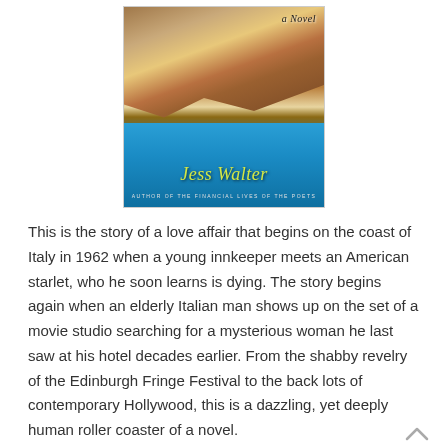[Figure (illustration): Book cover of a novel by Jess Walter showing the colorful cliffside buildings of Cinque Terre, Italy above turquoise-blue water. The text 'a Novel' appears in the upper right, the author's name 'Jess Walter' appears in large yellow-green script at the bottom, and the subtitle 'author of THE FINANCIAL LIVES OF THE POETS' appears in small text below the author name.]
This is the story of a love affair that begins on the coast of Italy in 1962 when a young innkeeper meets an American starlet, who he soon learns is dying. The story begins again when an elderly Italian man shows up on the set of a movie studio searching for a mysterious woman he last saw at his hotel decades earlier. From the shabby revelry of the Edinburgh Fringe Festival to the back lots of contemporary Hollywood, this is a dazzling, yet deeply human roller coaster of a novel.